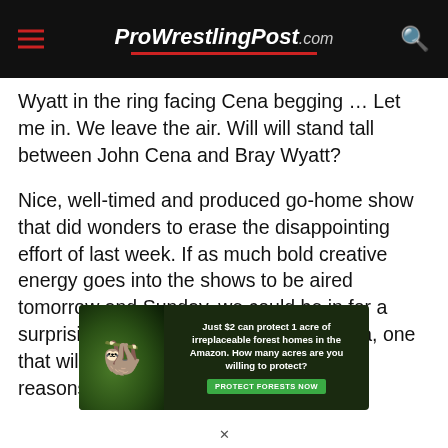ProWrestlingPost.com
Wyatt in the ring facing Cena begging … Let me in. We leave the air. Will will stand tall between John Cena and Bray Wyatt?
Nice, well-timed and produced go-home show that did wonders to erase the disappointing effort of last week. If as much bold creative energy goes into the shows to be aired tomorrow and Sunday, we could be in for a surprising and entertaining WrestleMania, one that will be remembered for all the right reasons. As for this
[Figure (infographic): Advertisement banner: 'Just $2 can protect 1 acre of irreplaceable forest homes in the Amazon. How many acres are you willing to protect?' with a Protect Forests Now button, showing a sloth in a forest background.]